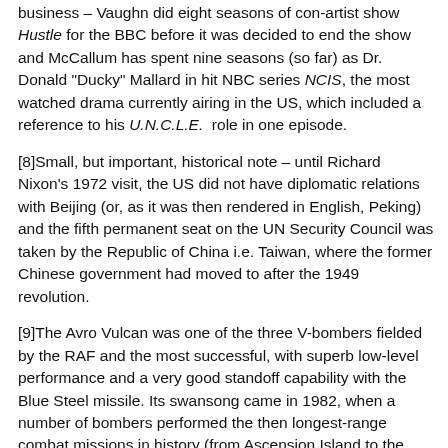business – Vaughn did eight seasons of con-artist show Hustle for the BBC before it was decided to end the show and McCallum has spent nine seasons (so far) as Dr. Donald "Ducky" Mallard in hit NBC series NCIS, the most watched drama currently airing in the US, which included a reference to his U.N.C.L.E.  role in one episode.
[8]Small, but important, historical note – until Richard Nixon's 1972 visit, the US did not have diplomatic relations with Beijing (or, as it was then rendered in English, Peking) and the fifth permanent seat on the UN Security Council was taken by the Republic of China i.e. Taiwan, where the former Chinese government had moved to after the 1949 revolution.
[9]The Avro Vulcan was one of the three V-bombers fielded by the RAF and the most successful, with superb low-level performance and a very good standoff capability with the Blue Steel missile. Its swansong came in 1982, when a number of bombers performed the then longest-range combat missions in history (from Ascension Island to the Falklands and back) to attack Argentine targets.